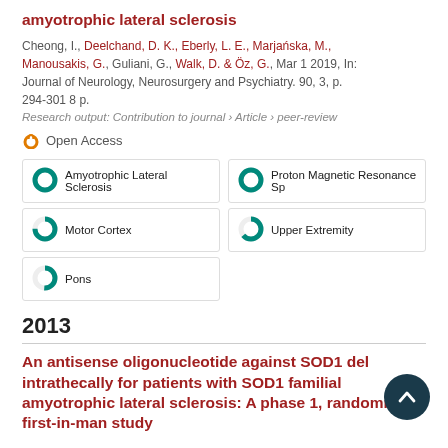amyotrophic lateral sclerosis
Cheong, I., Deelchand, D. K., Eberly, L. E., Marjańska, M., Manousakis, G., Guliani, G., Walk, D. & Öz, G., Mar 1 2019, In: Journal of Neurology, Neurosurgery and Psychiatry. 90, 3, p. 294-301 8 p.
Research output: Contribution to journal › Article › peer-review
Open Access
Amyotrophic Lateral Sclerosis
Proton Magnetic Resonance Sp
Motor Cortex
Upper Extremity
Pons
2013
An antisense oligonucleotide against SOD1 delivered intrathecally for patients with SOD1 familial amyotrophic lateral sclerosis: A phase 1, randomized, first-in-man study